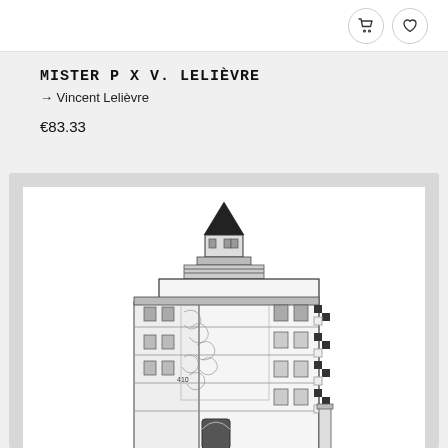[Figure (screenshot): Top portion of an e-commerce product card showing shopping cart and wishlist icon buttons on a white background]
MISTER P X V. LELIÈVRE
→ Vincent Lelièvre
€83.33
[Figure (illustration): Black and white detailed pen illustration of a multi-story Victorian/industrial brick building with a tower topped by a conical roof, multiple windows, ornate architectural details, and vegetation growing on one side]